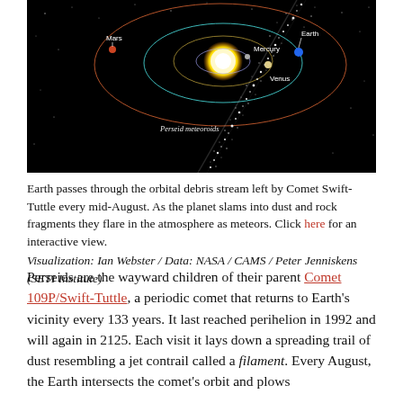[Figure (illustration): Space visualization showing the inner solar system with the Sun at center, orbital paths of Mercury, Venus, Earth, and Mars labeled, and a trail of Perseid meteoroids cutting diagonally across the orbits against a black background.]
Earth passes through the orbital debris stream left by Comet Swift-Tuttle every mid-August. As the planet slams into dust and rock fragments they flare in the atmosphere as meteors. Click here for an interactive view. Visualization: Ian Webster / Data: NASA / CAMS / Peter Jenniskens (SETI Institute)
Perseids are the wayward children of their parent Comet 109P/Swift-Tuttle, a periodic comet that returns to Earth's vicinity every 133 years. It last reached perihelion in 1992 and will again in 2125. Each visit it lays down a spreading trail of dust resembling a jet contrail called a filament. Every August, the Earth intersects the comet's orbit and plows